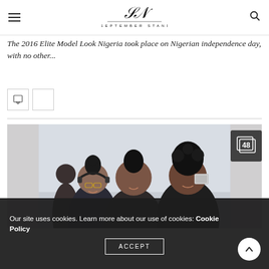THE SEPTEMBER STANDARD
The 2016 Elite Model Look Nigeria took place on Nigerian independence day, with no other...
[Figure (photo): Social share icons: comment bubble and a share button]
[Figure (photo): Photo of three young women smiling and taking a selfie, with a badge showing 48 images]
Our site uses cookies. Learn more about our use of cookies: Cookie Policy
ACCEPT